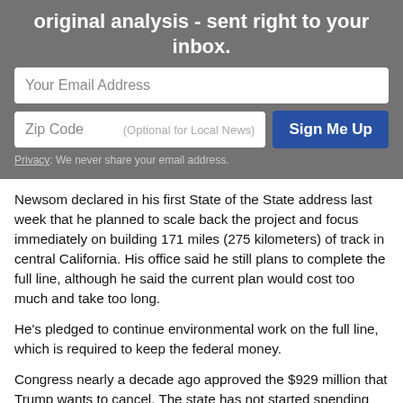original analysis - sent right to your inbox.
Your Email Address
Zip Code   (Optional for Local News)
Sign Me Up
Privacy: We never share your email address.
Newsom declared in his first State of the State address last week that he planned to scale back the project and focus immediately on building 171 miles (275 kilometers) of track in central California. His office said he still plans to complete the full line, although he said the current plan would cost too much and take too long.
He's pledged to continue environmental work on the full line, which is required to keep the federal money.
Congress nearly a decade ago approved the $929 million that Trump wants to cancel. The state has not started spending that money. But it has already spent the extra $2.5 billion that Trump now wants back. It's unclear if the federal government can demand that money back before the 2022 deadline.